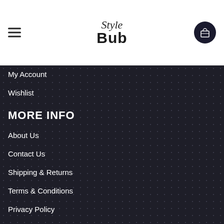Style Bub
My Account
Wishlist
MORE INFO
About Us
Contact Us
Shipping & Returns
Terms & Conditions
Privacy Policy
Blog
FOLLOW US